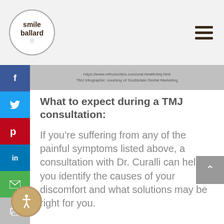smile ballard
https://www.webodonntics.com/oral-health/tmj.html
TMJ Infographic: courtesy of Scottsdale Dental Marketing
What to expect during a TMJ consultation:
If you’re suffering from any of the painful symptoms listed above, a consultation with Dr. Curalli can help you identify the causes of your discomfort and what solutions may be right for you.